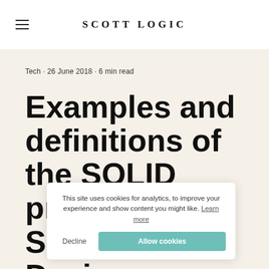SCOTT LOGIC
Tech · 26 June 2018 · 6 min read
Examples and definitions of the SOLID principles in Software Design
This site uses cookies for analytics, to improve your experience and show content you might like. Learn more
Decline | Allow cookies